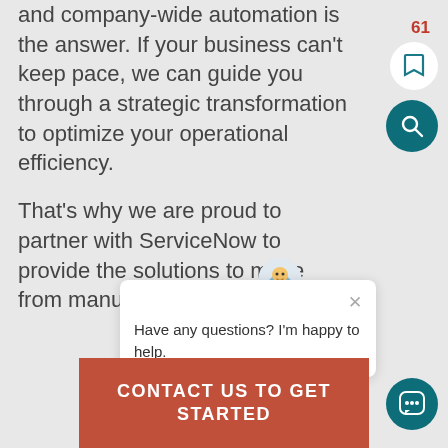and company-wide automation is the answer. If your business can't keep pace, we can guide you through a strategic transformation to optimize your operational efficiency.
That's why we are proud to partner with ServiceNow to provide the solutions to move from manual tasks and paper deliverables to digital applications that benefit your business.
[Figure (screenshot): Chat popup with avatar icon, close button, and message: Have any questions? I'm happy to help.]
CONTACT US TO GET STARTED
61